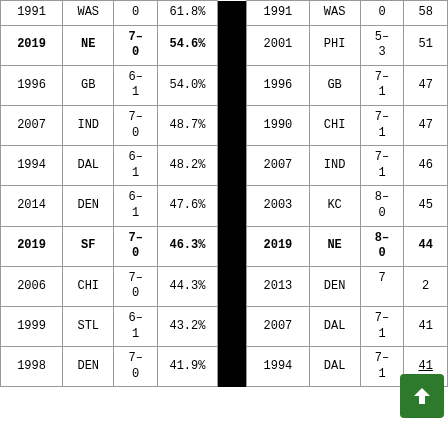| Year | Team | Record | Pct |  | Year | Team | Record | Pts |
| --- | --- | --- | --- | --- | --- | --- | --- | --- |
| 1991 | WAS | 0 | 61.8% | x | 1991 | WAS | 0 | 58 |
| 2019 | NE | 7-0 | 54.6% | x | 2001 | PHI | 5-3 | 51 |
| 1996 | GB | 6-1 | 54.0% | x | 1996 | GB | 7-1 | 47 |
| 2007 | IND | 7-0 | 48.7% | x | 1990 | CHI | 7-1 | 47 |
| 1994 | DAL | 6-1 | 48.2% | x | 2007 | IND | 7-1 | 46 |
| 2014 | DEN | 6-1 | 47.6% | x | 2003 | KC | 8-0 | 45 |
| 2019 | SF | 7-0 | 46.3% | x | 2019 | NE | 8-0 | 44 |
| 2006 | CHI | 7-0 | 44.3% | x | 2013 | DEN | 7- | 2 |
| 1999 | STL | 6-1 | 43.2% | x | 2007 | DAL | 7-1 | 41 |
| 1998 | DEN | 7-0 | 41.9% | x | 1994 | DAL | 7-1 | 41 |